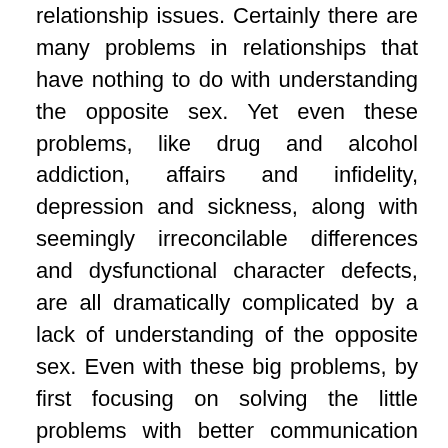relationship issues. Certainly there are many problems in relationships that have nothing to do with understanding the opposite sex. Yet even these problems, like drug and alcohol addiction, affairs and infidelity, depression and sickness, along with seemingly irreconcilable differences and dysfunctional character defects, are all dramatically complicated by a lack of understanding of the opposite sex. Even with these big problems, by first focusing on solving the little problems with better communication and more consideration, our hearts begin to open and a positive and powerful transformation can occur.
Twenty years ago, when I began developing and teaching these ideas, they